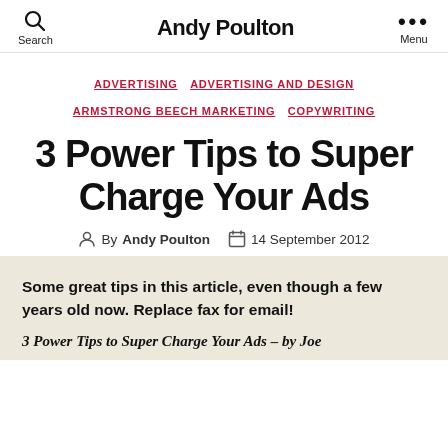Andy Poulton
ADVERTISING  ADVERTISING AND DESIGN  ARMSTRONG BEECH MARKETING  COPYWRITING
3 Power Tips to Super Charge Your Ads
By Andy Poulton  14 September 2012
Some great tips in this article, even though a few years old now. Replace fax for email!
3 Power Tips to Super Charge Your Ads – by Joe